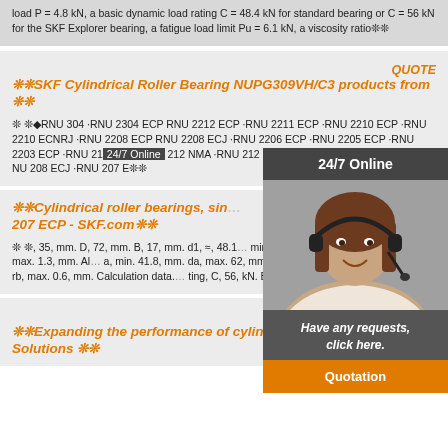load P = 4.8 kN, a basic dynamic load rating C = 48.4 kN for standard bearing or C = 56 kN for the SKF Explorer bearing, a fatigue load limit Pu = 6.1 kN, a viscosity ratio ❊❊
❊❊SKF Cylindrical Roller Bearing NUPG309VH/C3 products from ❊❊
QUOTE
❊ ❊◆RNU 304 ·RNU 2304 ECP RNU 2212 ECP ·RNU 2211 ECP ·RNU 2210 ECP ·RNU 2210 ECNRJ ·RNU 2208 ECP RNU 2208 ECJ ·RNU 2206 ECP ·RNU 2205 ECP ·RNU 2203 ECP ·RNU 21… 212 NMA ·RNU 212 ECJ ·RNU 211 ECP ·RNU 209 E… NU 208 ECJ ·RNU 207 E❊❊
❊❊Cylindrical roller bearings, sin… 207 ECP - SKF.com❊❊
QUOTE
❊ ❊, 35, mm. D, 72, mm. B, 17, mm. d1, ≈, 48.1… min. 1.1, mm. r3,4, min. 0.6, mm. s, max. 1.3, mm. Al… a, min. 41.8, mm. da, max. 62, mm. Da, min. 66, m… ra, max. 1, mm. rb, max. 0.6, mm. Calculation data.… ting, C, 56, kN. Basic static lo❊❊
❊❊Expanding the performance of cylindrical roller bearings, Solutions ❊❊
QUOTE
[Figure (illustration): Chat widget showing '24/7 Online' header, a woman wearing a headset, a message 'Have any requests, click here.' and a 'Quotation' button]